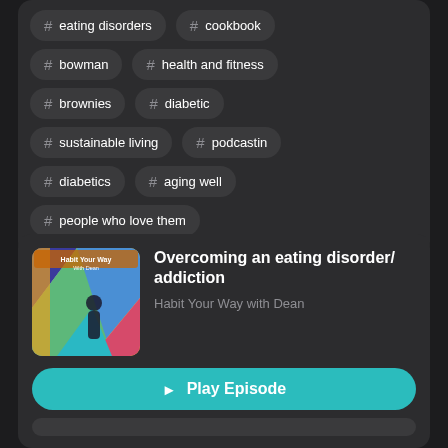# eating disorders
# cookbook
# bowman
# health and fitness
# brownies
# diabetic
# sustainable living
# podcastin
# diabetics
# aging well
# people who love them
Overcoming an eating disorder/ addiction
Habit Your Way with Dean
Play Episode